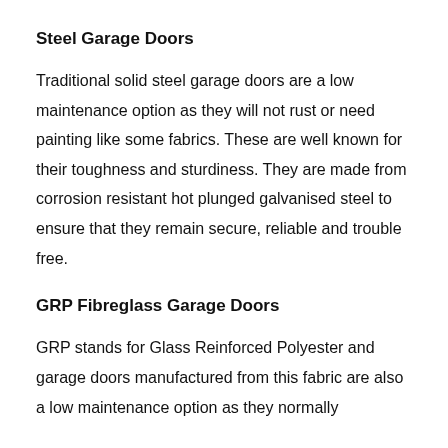Steel Garage Doors
Traditional solid steel garage doors are a low maintenance option as they will not rust or need painting like some fabrics. These are well known for their toughness and sturdiness. They are made from corrosion resistant hot plunged galvanised steel to ensure that they remain secure, reliable and trouble free.
GRP Fibreglass Garage Doors
GRP stands for Glass Reinforced Polyester and garage doors manufactured from this fabric are also a low maintenance option as they normally